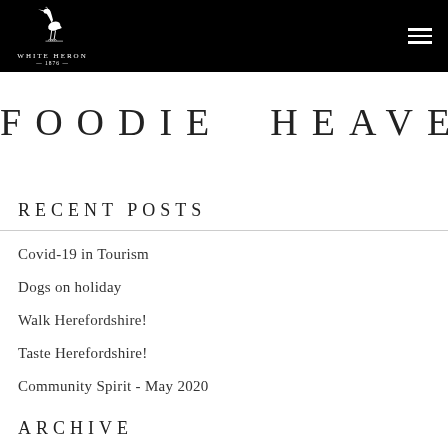WHITE HERON — 1876 —
FOODIE HEAVEN
RECENT POSTS
Covid-19 in Tourism
Dogs on holiday
Walk Herefordshire!
Taste Herefordshire!
Community Spirit - May 2020
ARCHIVE